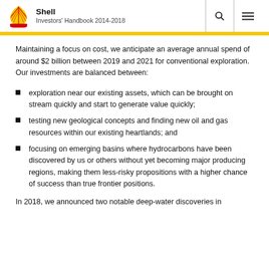Shell Investors' Handbook 2014-2018
Maintaining a focus on cost, we anticipate an average annual spend of around $2 billion between 2019 and 2021 for conventional exploration. Our investments are balanced between:
exploration near our existing assets, which can be brought on stream quickly and start to generate value quickly;
testing new geological concepts and finding new oil and gas resources within our existing heartlands; and
focusing on emerging basins where hydrocarbons have been discovered by us or others without yet becoming major producing regions, making them less-risky propositions with a higher chance of success than true frontier positions.
In 2018, we announced two notable deep-water discoveries in